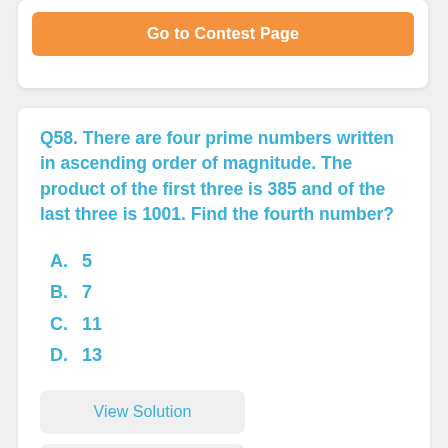[Figure (other): Orange 'Go to Contest Page' button inside a white card at the top of the page]
Q58. There are four prime numbers written in ascending order of magnitude. The product of the first three is 385 and of the last three is 1001. Find the fourth number?
A.   5
B.   7
C.   11
D.   13
View Solution
View Comments